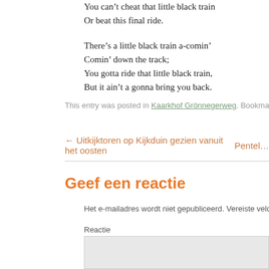You can’t cheat that little black train
Or beat this final ride.

There’s a little black train a-comin’
Comin’ down the track;
You gotta ride that little black train,
But it ain’t a gonna bring you back.
This entry was posted in Kaarkhof Grönnegerweg. Bookmark the permalink.
← Uitkijktoren op Kijkduin gezien vanuit het oosten   Pentel…
Geef een reactie
Het e-mailadres wordt niet gepubliceerd. Vereiste velden zijn gemarkeerd …
Reactie